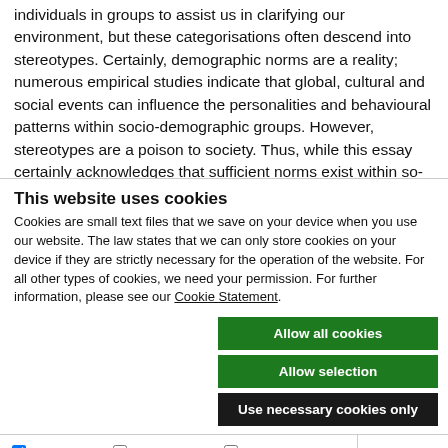individuals in groups to assist us in clarifying our environment, but these categorisations often descend into stereotypes. Certainly, demographic norms are a reality; numerous empirical studies indicate that global, cultural and social events can influence the personalities and behavioural patterns within socio-demographic groups. However, stereotypes are a poison to society. Thus, while this essay certainly acknowledges that sufficient norms exist within so-called “Gen X”, “Gen Y” and the “Baby Boomers” to justify their being attributed collective nouns – it also seeks to reject the more
This website uses cookies
Cookies are small text files that we save on your device when you use our website. The law states that we can only store cookies on your device if they are strictly necessary for the operation of the website. For all other types of cookies, we need your permission. For further information, please see our Cookie Statement.
Allow all cookies
Allow selection
Use necessary cookies only
Necessary | Preferences | Statistics | Marketing | Show details